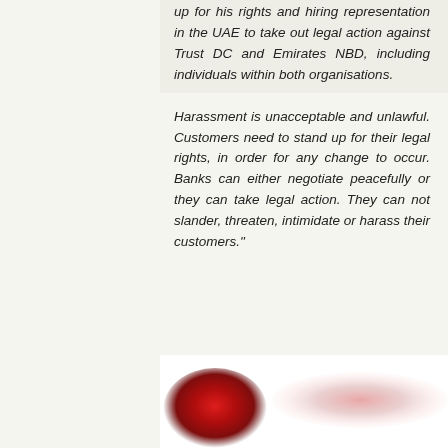up for his rights and hiring representation in the UAE to take out legal action against Trust DC and Emirates NBD, including individuals within both organisations.

Harassment is unacceptable and unlawful. Customers need to stand up for their legal rights, in order for any change to occur. Banks can either negotiate peacefully or they can take legal action. They can not slander, threaten, intimidate or harass their customers."
[Figure (photo): Blurred image at bottom of page showing a red circular object (possibly a seal or logo) on the left and a pink/red blurred shape on the right, both heavily blurred and partially cropped.]